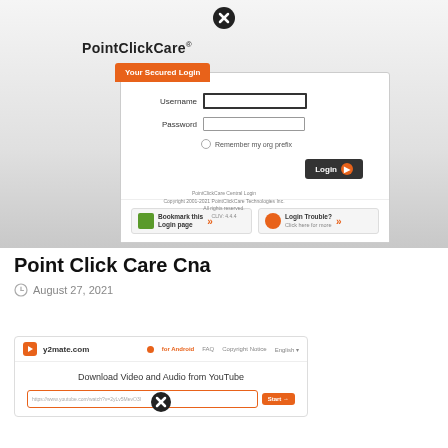[Figure (screenshot): PointClickCare login page screenshot showing username/password fields, 'Your Secured Login' tab, Login button, Bookmark this Login page and Login Trouble buttons, and copyright footer text]
Point Click Care Cna
August 27, 2021
[Figure (screenshot): y2mate.com website screenshot showing 'Download Video and Audio from YouTube' with a YouTube URL input field and Start button]